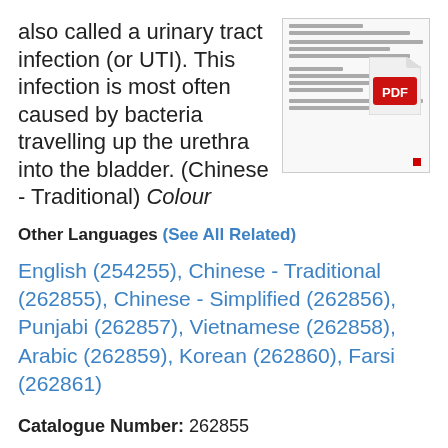also called a urinary tract infection (or UTI). This infection is most often caused by bacteria travelling up the urethra into the bladder. (Chinese - Traditional) Colour
[Figure (screenshot): Thumbnail of a PDF document page with Chinese text and a PDF icon overlay]
Other Languages (See All Related)
English (254255), Chinese - Traditional (262855), Chinese - Simplified (262856), Punjabi (262857), Vietnamese (262858), Arabic (262859), Korean (262860), Farsi (262861)
Catalogue Number: 262855